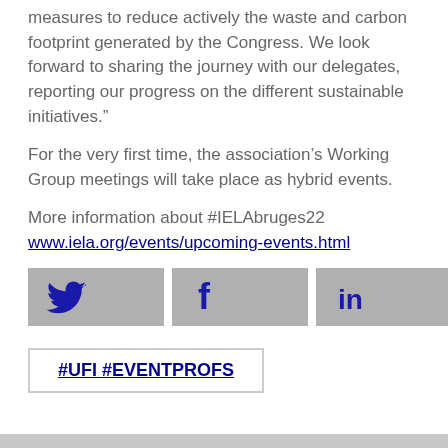measures to reduce actively the waste and carbon footprint generated by the Congress. We look forward to sharing the journey with our delegates, reporting our progress on the different sustainable initiatives.”
For the very first time, the association’s Working Group meetings will take place as hybrid events.
More information about #IELAbruges22 www.iela.org/events/upcoming-events.html
[Figure (other): Three social media buttons: Twitter (bird icon), Facebook (f), and LinkedIn (in), displayed as gray rectangular buttons with blue icons.]
#UFI #EVENTPROFS